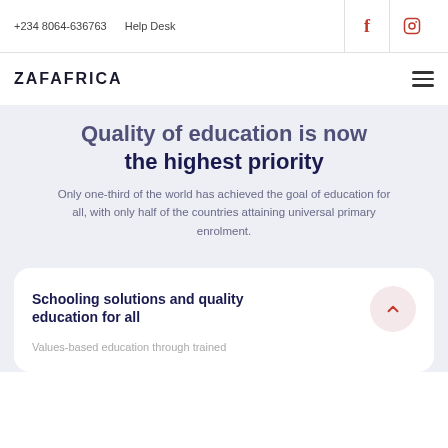+234 8064-636763   Help Desk
ZAFAFRICA
Quality of education is now the highest priority
Only one-third of the world has achieved the goal of education for all, with only half of the countries attaining universal primary enrolment.
Schooling solutions and quality education for all
Values-based education through trained